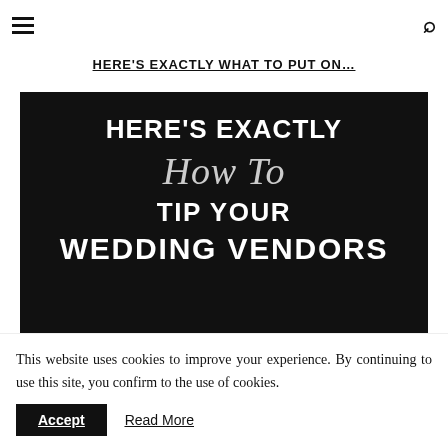≡ [hamburger menu] [search icon]
HERE'S EXACTLY WHAT TO PUT ON…
[Figure (illustration): Dark black background image with text: HERE'S EXACTLY (bold white uppercase), How To (italic script gray), TIP YOUR (bold white uppercase), WEDDING VENDORS (bold white uppercase, partially visible)]
This website uses cookies to improve your experience. By continuing to use this site, you confirm to the use of cookies.
Accept   Read More